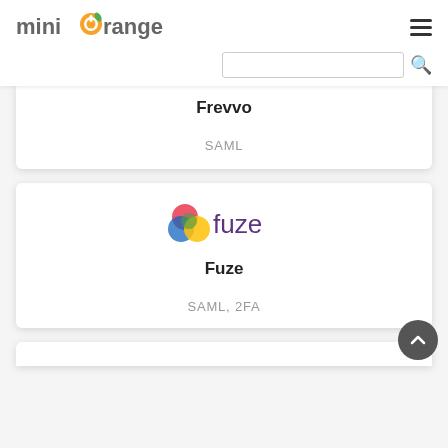miniOrange
[Figure (logo): miniOrange logo with orange circular icon and gray text]
Frevvo
SAML
[Figure (logo): Fuze logo with colorful overlapping circles and purple 'fuze' text]
Fuze
SAML, 2FA